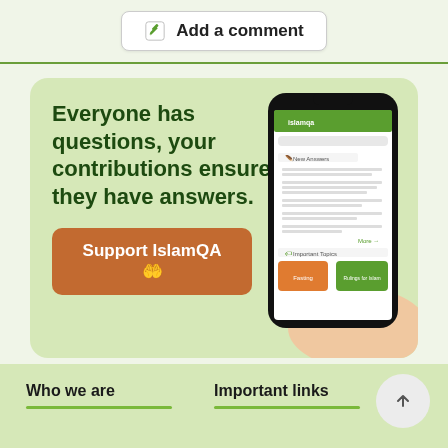Add a comment
[Figure (infographic): IslamQA promotional banner with text 'Everyone has questions, your contributions ensure they have answers.' and a phone showing the IslamQA app, with a 'Support IslamQA' button.]
Who we are
Important links